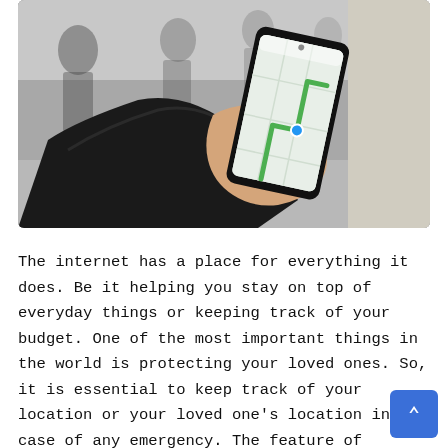[Figure (photo): A hand holding a smartphone displaying a maps/navigation app, set against a blurred background of people walking on a city street. The person is wearing a black leather jacket.]
The internet has a place for everything it does. Be it helping you stay on top of everyday things or keeping track of your budget. One of the most important things in the world is protecting your loved ones. So, it is essential to keep track of your location or your loved one's location in case of any emergency. The feature of Android cell phones is of great use to the customers who utmost need it. If you have